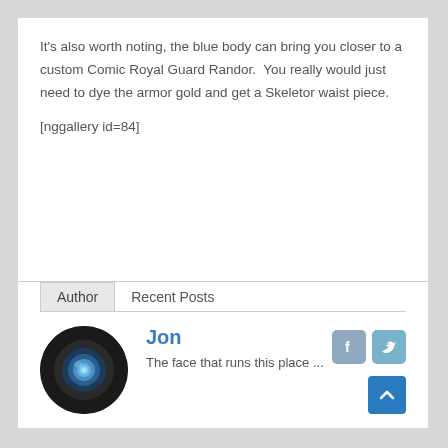It's also worth noting, the blue body can bring you closer to a custom Comic Royal Guard Randor.  You really would just need to dye the armor gold and get a Skeletor waist piece.
[nggallery id=84]
Author	Recent Posts
[Figure (photo): Circular avatar image showing a blue robotic eye lens on a dark background]
Jon
The face that runs this place ...